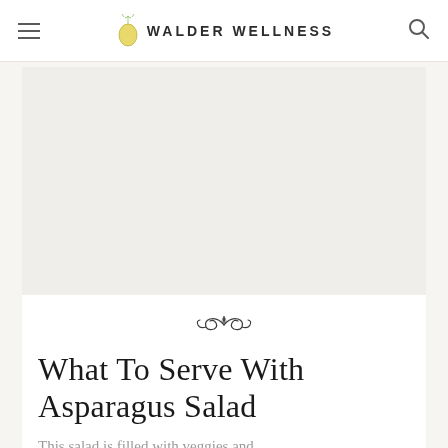WALDER WELLNESS
[Figure (photo): White/blank image placeholder area for article hero photo]
[Figure (illustration): Decorative floral/scroll ornament divider]
What To Serve With Asparagus Salad
This salad is filled with veggies and